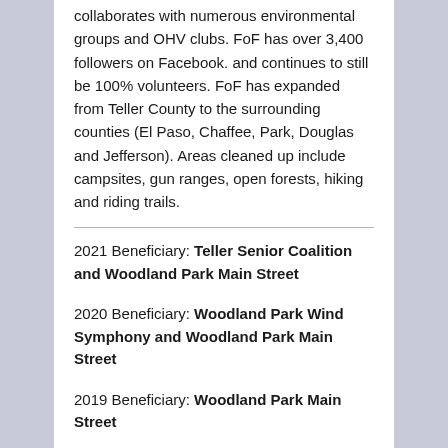collaborates with numerous environmental groups and OHV clubs. FoF has over 3,400 followers on Facebook. and continues to still be 100% volunteers. FoF has expanded from Teller County to the surrounding counties (El Paso, Chaffee, Park, Douglas and Jefferson). Areas cleaned up include campsites, gun ranges, open forests, hiking and riding trails.
2021 Beneficiary: Teller Senior Coalition and Woodland Park Main Street
2020 Beneficiary: Woodland Park Wind Symphony and Woodland Park Main Street
2019 Beneficiary: Woodland Park Main Street